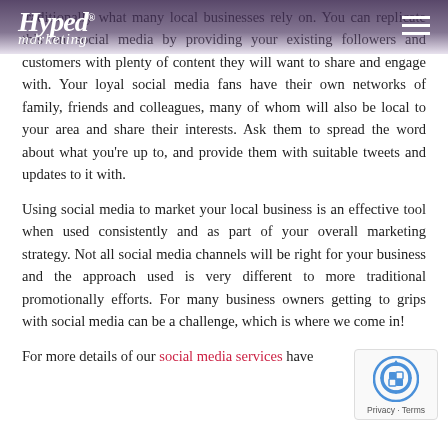Hyped Marketing
traditionally what many local businesses rely on. You can replicate this on social media by providing your existing followers and customers with plenty of content they will want to share and engage with. Your loyal social media fans have their own networks of family, friends and colleagues, many of whom will also be local to your area and share their interests. Ask them to spread the word about what you’re up to, and provide them with suitable tweets and updates to it with.
Using social media to market your local business is an effective tool when used consistently and as part of your overall marketing strategy. Not all social media channels will be right for your business and the approach used is very different to more traditional promotionally efforts. For many business owners getting to grips with social media can be a challenge, which is where we come in!
For more details of our social media services have